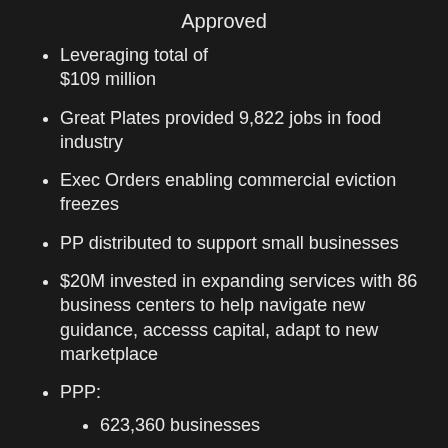Approved
Leveraging total of $109 million
Great Plates provided 9,822 jobs in food industry
Exec Orders enabling commercial eviction freezes
PP distributed to support small businesses
$20M invested in expanding services with 86 business centers to help navigate new guidance, accesss capital, adapt to new marketplace
PPP:
623,360 businesses